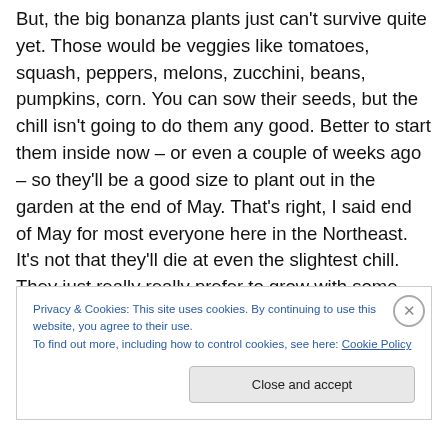But, the big bonanza plants just can't survive quite yet. Those would be veggies like tomatoes, squash, peppers, melons, zucchini, beans, pumpkins, corn. You can sow their seeds, but the chill isn't going to do them any good. Better to start them inside now – or even a couple of weeks ago – so they'll be a good size to plant out in the garden at the end of May. That's right, I said end of May for most everyone here in the Northeast. It's not that they'll die at even the slightest chill. They just really really prefer to grow with some heat. Wouldn't you? Anyway, the weekend before or during Memorial Day is a good time to
Privacy & Cookies: This site uses cookies. By continuing to use this website, you agree to their use.
To find out more, including how to control cookies, see here: Cookie Policy